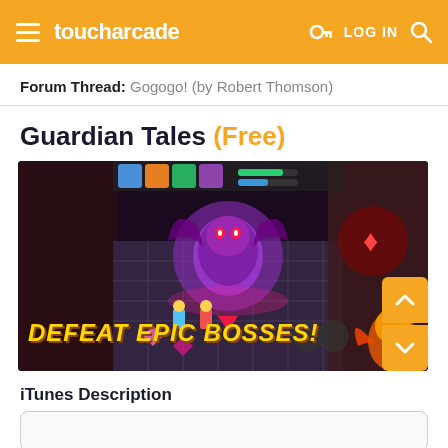toucharcade  LOG IN
Forum Thread: Gogogo! (by Robert Thomson)
Guardian Tales (Free)
[Figure (screenshot): Guardian Tales mobile game screenshot showing gameplay with characters fighting a large purple boss enemy. Bold text overlay reads 'DEFEAT EPIC BOSSES!' in golden yellow letters with orange outline. Game UI shows character portraits and health bars at the top.]
iTunes Description